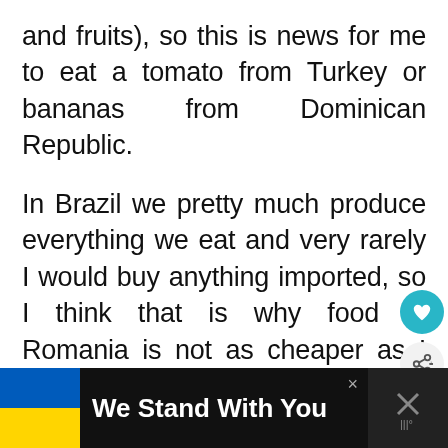and fruits), so this is news for me to eat a tomato from Turkey or bananas from Dominican Republic.
In Brazil we pretty much produce everything we eat and very rarely I would buy anything imported, so I think that is why food in Romania is not as cheaper as I thought it would be compared to Brazil, and sorry (for the Romanians) to say but the taste of our vegetables and fruits in Brazil are also better.. they are much more tasty there 🙂
[Figure (infographic): Advertisement banner with Ukrainian flag (blue and yellow) and text 'We Stand With You' with a close button and a dark right panel with an X icon]